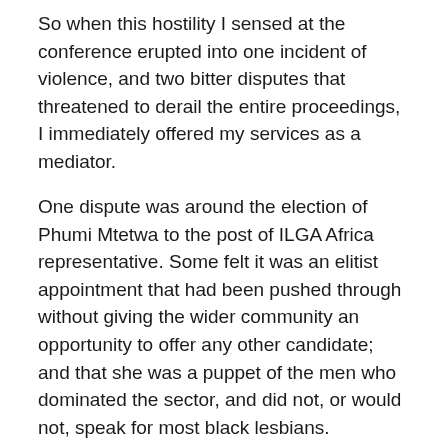So when this hostility I sensed at the conference erupted into one incident of violence, and two bitter disputes that threatened to derail the entire proceedings, I immediately offered my services as a mediator.
One dispute was around the election of Phumi Mtetwa to the post of ILGA Africa representative. Some felt it was an elitist appointment that had been pushed through without giving the wider community an opportunity to offer any other candidate; and that she was a puppet of the men who dominated the sector, and did not, or would not, speak for most black lesbians.
Having met Phumi and heard her speak, I found this latter hard to believe. Not only was I charmed out of my pants, but I was impressed by her vision, and thought that her insights were spot-on, and her passion and courage were